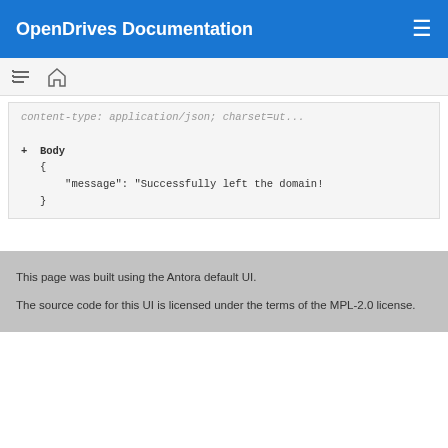OpenDrives Documentation
content-type: application/json; charset=utf-...
+ Body
    {
        "message": "Successfully left the domain!"
    }
This page was built using the Antora default UI.
The source code for this UI is licensed under the terms of the MPL-2.0 license.